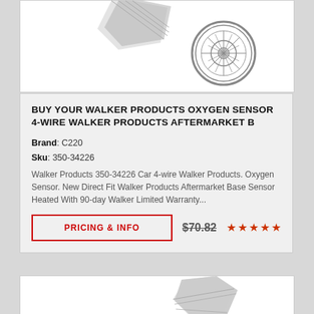[Figure (photo): Product image area showing partial oxygen sensor and circular brand logo/badge at top of page]
BUY YOUR WALKER PRODUCTS OXYGEN SENSOR 4-WIRE WALKER PRODUCTS AFTERMARKET B
Brand: C220
Sku: 350-34226
Walker Products 350-34226 Car 4-wire Walker Products. Oxygen Sensor. New Direct Fit Walker Products Aftermarket Base Sensor Heated With 90-day Walker Limited Warranty...
PRICING & INFO  $70.82  ★★★★★
[Figure (photo): Partial product image at bottom of page showing another oxygen sensor]